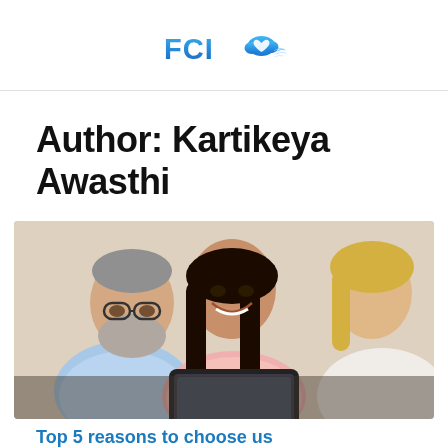[Figure (logo): FCI logo with blue cloud icon and stylized text]
Author: Kartikeya Awasthi
[Figure (photo): Three people looking at a tablet together — an older man with glasses and grey beard, a young woman with dark hair smiling, and a blonde woman on the right]
Top 5 reasons to choose us